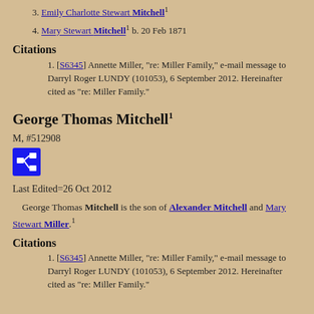3. Emily Charlotte Stewart Mitchell¹
4. Mary Stewart Mitchell¹ b. 20 Feb 1871
Citations
1. [S6345] Annette Miller, "re: Miller Family," e-mail message to Darryl Roger LUNDY (101053), 6 September 2012. Hereinafter cited as "re: Miller Family."
George Thomas Mitchell¹
M, #512908
[Figure (other): Blue icon button with network/relationship diagram symbol]
Last Edited=26 Oct 2012
George Thomas Mitchell is the son of Alexander Mitchell and Mary Stewart Miller.¹
Citations
1. [S6345] Annette Miller, "re: Miller Family," e-mail message to Darryl Roger LUNDY (101053), 6 September 2012. Hereinafter cited as "re: Miller Family."